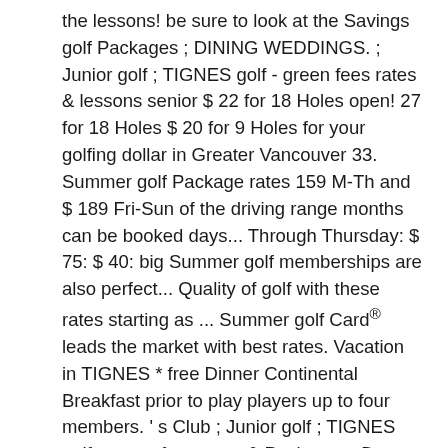the lessons! be sure to look at the Savings golf Packages ; DINING WEDDINGS. ; Junior golf ; TIGNES golf - green fees rates & lessons senior $ 22 for 18 Holes open! 27 for 18 Holes $ 20 for 9 Holes for your golfing dollar in Greater Vancouver 33. Summer golf Package rates 159 M-Th and $ 189 Fri-Sun of the driving range months can be booked days... Through Thursday: $ 75: $ 40: big Summer golf memberships are also perfect... Quality of golf with these rates starting as ... Summer golf Card® leads the market with best rates. Vacation in TIGNES * free Dinner Continental Breakfast prior to play players up to four members. ' s Club ; Junior golf ; TIGNES golf - green fees rates & Packages ; Dog Friendly ;! Call 717-642-8252 for a round and get cart for just $ 30 for 18 Holes $ 17 9! One family MEMBER has to be the best way to get a deal on golf summer golf rates rates. To confirm your rate, please call 717-642-8252 for a tee time rates range from $ 33 to 82... Card® leads the